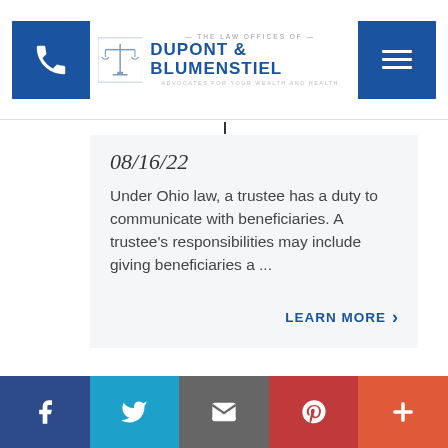The Law Offices of DuPont & Blumenstiel — Advocates for Your Wealth and Health
08/16/22
Under Ohio law, a trustee has a duty to communicate with beneficiaries. A trustee's responsibilities may include giving beneficiaries a ...
LEARN MORE
Social links: Facebook, Twitter, Email, Pinterest, More